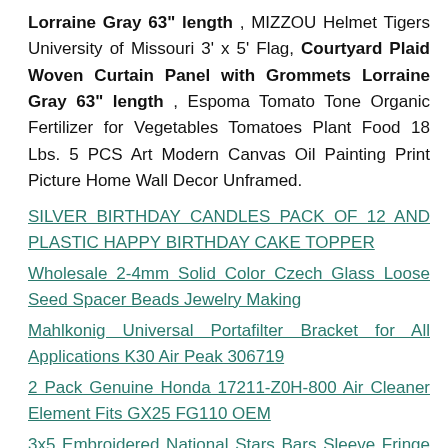Lorraine Gray 63" length , MIZZOU Helmet Tigers University of Missouri 3' x 5' Flag, Courtyard Plaid Woven Curtain Panel with Grommets Lorraine Gray 63" length , Espoma Tomato Tone Organic Fertilizer for Vegetables Tomatoes Plant Food 18 Lbs. 5 PCS Art Modern Canvas Oil Painting Print Picture Home Wall Decor Unframed.
SILVER BIRTHDAY CANDLES PACK OF 12 AND PLASTIC HAPPY BIRTHDAY CAKE TOPPER
Wholesale 2-4mm Solid Color Czech Glass Loose Seed Spacer Beads Jewelry Making
Mahlkonig Universal Portafilter Bracket for All Applications K30 Air Peak 306719
2 Pack Genuine Honda 17211-Z0H-800 Air Cleaner Element Fits GX25 FG110 OEM
3x5 Embroidered National Stars Bars Sleeve Fringe 600D 2ply Nylon Flag 3'x5'